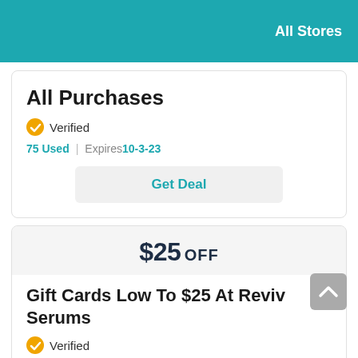All Stores
All Purchases
Verified
75 Used | Expires 10-3-23
Get Deal
$25 OFF
Gift Cards Low To $25 At Reviv Serums
Verified
69 Used | Expires 10-3-23
Get Deal